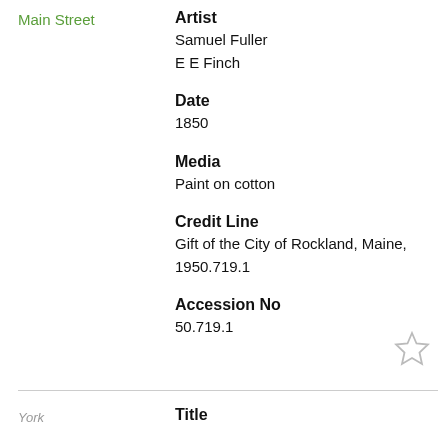Main Street
Artist
Samuel Fuller
E E Finch
Date
1850
Media
Paint on cotton
Credit Line
Gift of the City of Rockland, Maine, 1950.719.1
Accession No
50.719.1
York
Title